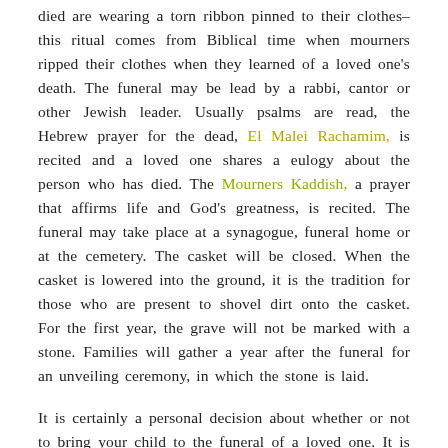died are wearing a torn ribbon pinned to their clothes–this ritual comes from Biblical time when mourners ripped their clothes when they learned of a loved one's death. The funeral may be lead by a rabbi, cantor or other Jewish leader. Usually psalms are read, the Hebrew prayer for the dead, El Malei Rachamim, is recited and a loved one shares a eulogy about the person who has died. The Mourners Kaddish, a prayer that affirms life and God's greatness, is recited. The funeral may take place at a synagogue, funeral home or at the cemetery. The casket will be closed. When the casket is lowered into the ground, it is the tradition for those who are present to shovel dirt onto the casket. For the first year, the grave will not be marked with a stone. Families will gather a year after the funeral for an unveiling ceremony, in which the stone is laid.
It is certainly a personal decision about whether or not to bring your child to the funeral of a loved one. It is important if you choose to do so to talk about the funeral ahead of time. Many families will bring a babysitter along so